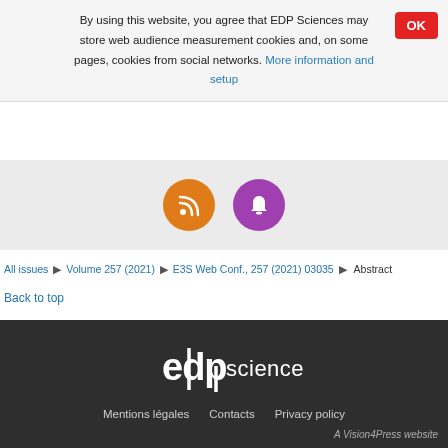By using this website, you agree that EDP Sciences may store web audience measurement cookies and, on some pages, cookies from social networks. More information and setup
[Figure (other): Two circular icon buttons: orange RSS feed icon and purple notification bell icon]
All issues ▶ Volume 257 (2021) ▶ E3S Web Conf., 257 (2021) 03035 ▶ Abstract
Back to top
[Figure (logo): EDP Sciences white logo on dark background]
Mentions légales   Contacts   Privacy policy
A Vision4Press website